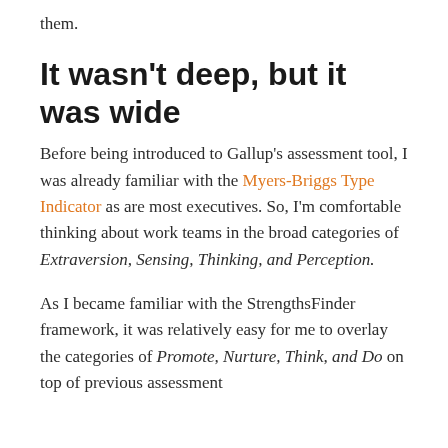them.
It wasn't deep, but it was wide
Before being introduced to Gallup's assessment tool, I was already familiar with the Myers-Briggs Type Indicator as are most executives. So, I'm comfortable thinking about work teams in the broad categories of Extraversion, Sensing, Thinking, and Perception.
As I became familiar with the StrengthsFinder framework, it was relatively easy for me to overlay the categories of Promote, Nurture, Think, and Do on top of previous assessment